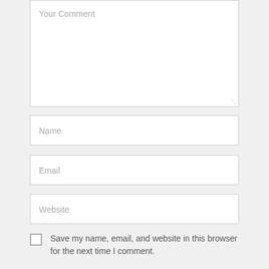Your Comment
Name
Email
Website
Save my name, email, and website in this browser for the next time I comment.